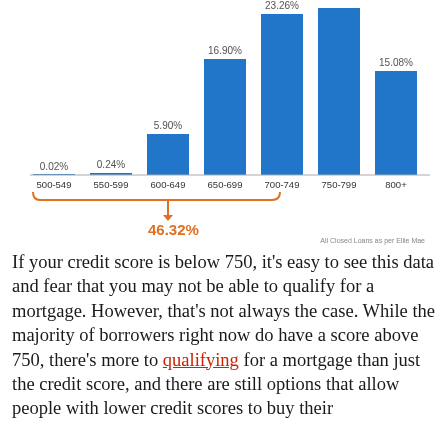[Figure (bar-chart): All Closed Loans as per Ellie Mae]
If your credit score is below 750, it's easy to see this data and fear that you may not be able to qualify for a mortgage. However, that's not always the case. While the majority of borrowers right now do have a score above 750, there's more to qualifying for a mortgage than just the credit score, and there are still options that allow people with lower credit scores to buy their